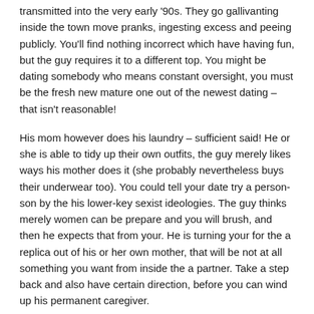transmitted into the very early '90s. They go gallivanting inside the town move pranks, ingesting excess and peeing publicly. You'll find nothing incorrect which have having fun, but the guy requires it to a different top. You might be dating somebody who means constant oversight, you must be the fresh new mature one out of the newest dating – that isn't reasonable!
His mom however does his laundry – sufficient said! He or she is able to tidy up their own outfits, the guy merely likes ways his mother does it (she probably nevertheless buys their underwear too). You could tell your date try a person-son by the his lower-key sexist ideologies. The guy thinks merely women can be prepare and you will brush, and then he expects that from your. He is turning your for the a replica out of his or her own mother, that will be not at all something you want from inside the a partner. Take a step back and also have certain direction, before you can wind up his permanent caregiver.
An informed dating/matchmaking suggestions about the internet – Paid When you're scanning this, here are some Dating Hero, an internet site, in which highly trained